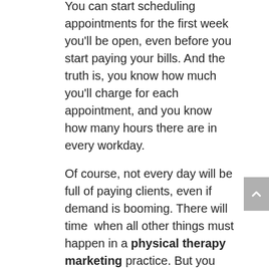You can start scheduling appointments for the first week you'll be open, even before you start paying your bills. And the truth is, you know how much you'll charge for each appointment, and you know how many hours there are in every workday.
Of course, not every day will be full of paying clients, even if demand is booming. There will time  when all other things must happen in a physical therapy marketing practice. But you can probably come up with a rough estimate of how much you can expect to make if you have a decent flow of patients coming through the doors.
Bringing it Together
The really important thing to do is to figure out how you will pay your bills. If your income estimates can never cover the estimated expenses, you're going to